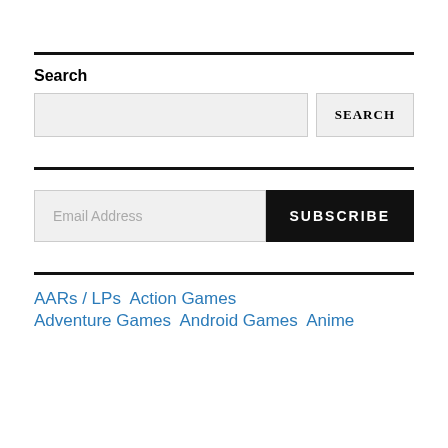Search
Email Address
AARs / LPs  Action Games
Adventure Games  Android Games  Anime